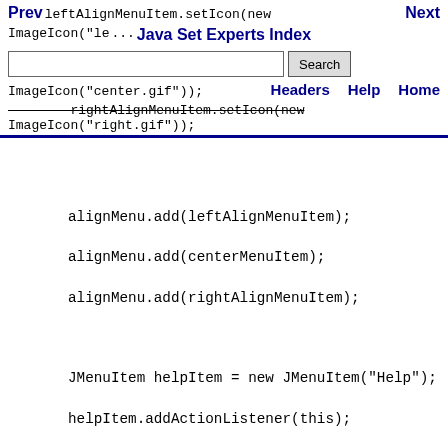Prev  leftAlignMenuItem.setIcon(new ImageIcon("le...  Next
Java Set Experts Index
[Search box] Search
ImageIcon("center.gif"));  Headers  Help  Home
rightAlignMenuItem.setIcon(new ImageIcon("right.gif"));
alignMenu.add(leftAlignMenuItem);
alignMenu.add(centerMenuItem);
alignMenu.add(rightAlignMenuItem);

JMenuItem helpItem = new JMenuItem("Help");
helpItem.addActionListener(this);
helpMenu.add(helpItem);

JMenuItem shortcutsItem = new JMenuItem("Keyboard Shortcuts");
shortcutsItem.addActionListener(this);
helpMenu.add(shortcutsItem);

JMenuItem aboutItem = new JMenuItem("About QuantumHyperSpace");
aboutItem.addActionListener(this);
helpMenu.add(aboutItem);